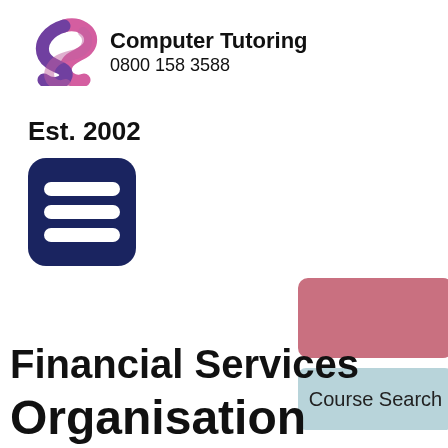[Figure (logo): Computer Tutoring logo with stylized purple/pink swirl S shape, company name 'Computer Tutoring' in bold and phone number '0800 158 3588' beneath]
Est. 2002
[Figure (other): Dark navy blue rounded rectangle icon with three horizontal white bars (hamburger menu icon)]
[Figure (other): Partially visible pink/rose colored rounded rectangle button at right edge]
Course Search
Financial Services
Organisation